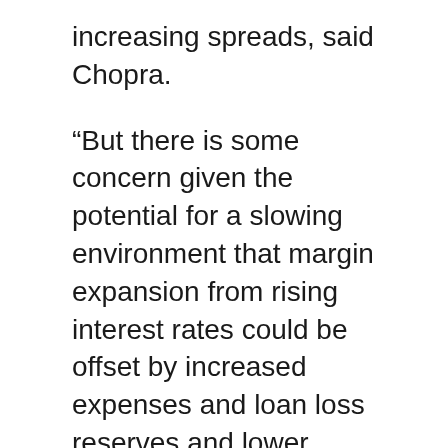increasing spreads, said Chopra.
“But there is some concern given the potential for a slowing environment that margin expansion from rising interest rates could be offset by increased expenses and loan loss reserves and lower capital market activity than there was a year ago.”
Health care was the biggest laggard Tuesday, losing 7.5 per cent as cannabis shares slumped after the governor of Delaware vetoed a bill to legalize cannabis in the state, setting up a political battle with the legislature.
Chopra said the question for investors is does state opposition become an issue across the United States.